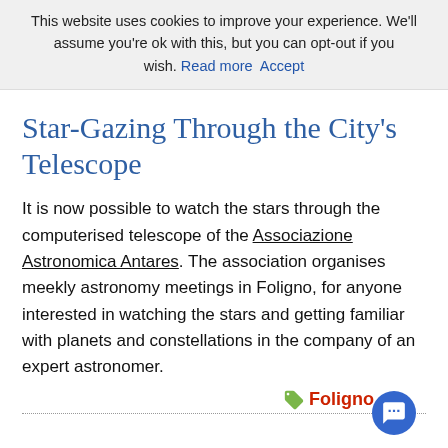This website uses cookies to improve your experience. We'll assume you're ok with this, but you can opt-out if you wish. Read more Accept
Star-Gazing Through the City's Telescope
It is now possible to watch the stars through the computerised telescope of the Associazione Astronomica Antares. The association organises meekly astronomy meetings in Foligno, for anyone interested in watching the stars and getting familiar with planets and constellations in the company of an expert astronomer.
Foligno
MusicalMente Cultural